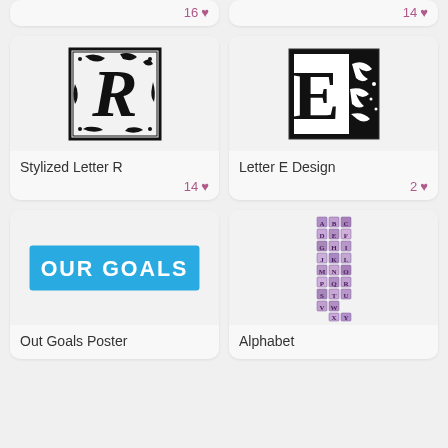[Figure (illustration): Partial card tops showing like counts: 16 and 14]
[Figure (illustration): Decorative ornate letter R with floral scrollwork in black and white]
Stylized Letter R
14 ♥
[Figure (illustration): Decorative ornate letter E with baroque scrollwork in black and white]
Letter E Design
2 ♥
[Figure (illustration): Blue banner with white bold text OUR GOALS]
Out Goals Poster
[Figure (illustration): Grid of small colorful decorative alphabet letter tiles arranged in columns]
Alphabet